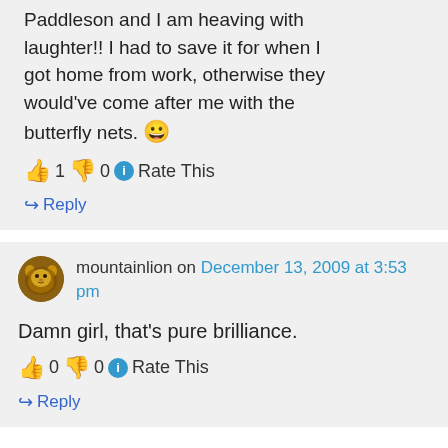Paddleson and I am heaving with laughter!! I had to save it for when I got home from work, otherwise they would've come after me with the butterfly nets. 😀
👍 1 👎 0 ℹ Rate This
↪ Reply
mountainlion on December 13, 2009 at 3:53 pm
Damn girl, that's pure brilliance.
👍 0 👎 0 ℹ Rate This
↪ Reply